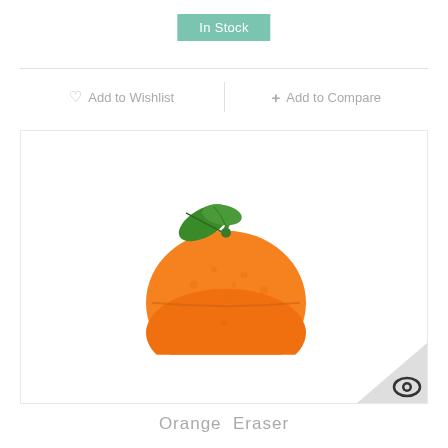In Stock
♡ Add to Wishlist   + Add to Compare
[Figure (photo): Photo of an orange eraser shaped like a real orange fruit with green leaves on top, on a white background. A zoom/eye icon is visible in the bottom-right corner.]
Orange  Eraser